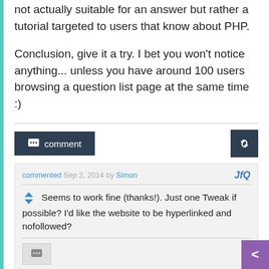not actually suitable for an answer but rather a tutorial targeted to users that know about PHP.
Conclusion, give it a try. I bet you won't notice anything... unless you have around 100 users browsing a question list page at the same time :)
comment button and link button
commented Sep 2, 2014 by Simon
Seems to work fine (thanks!). Just one Tweak if possible? I'd like the website to be hyperlinked and nofollowed?
commented Sep 2, 2014 by pupi1985
Then instead of this line: